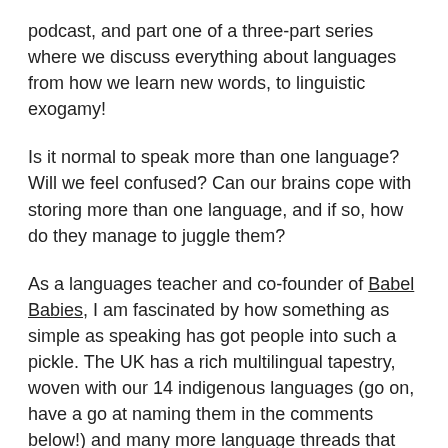podcast, and part one of a three-part series where we discuss everything about languages from how we learn new words, to linguistic exogamy!
Is it normal to speak more than one language? Will we feel confused? Can our brains cope with storing more than one language, and if so, how do they manage to juggle them?
As a languages teacher and co-founder of Babel Babies, I am fascinated by how something as simple as speaking has got people into such a pickle. The UK has a rich multilingual tapestry, woven with our 14 indigenous languages (go on, have a go at naming them in the comments below!) and many more language threads that have come to our shores with people from all over the world, and yet we have a reputation of shying away from learning new languages.
I think it's high-time we faced the issues we have about